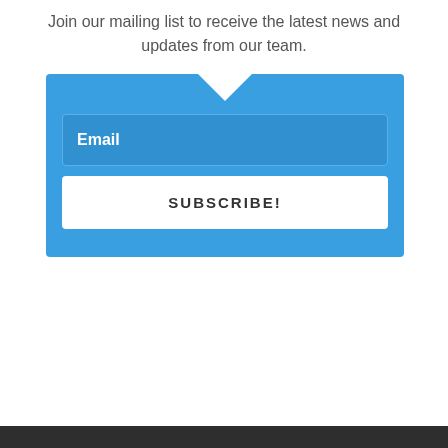Join our mailing list to receive the latest news and updates from our team.
[Figure (screenshot): Blue subscription form box with downward-pointing triangle notch at top, containing an Email input field and a SUBSCRIBE! button]